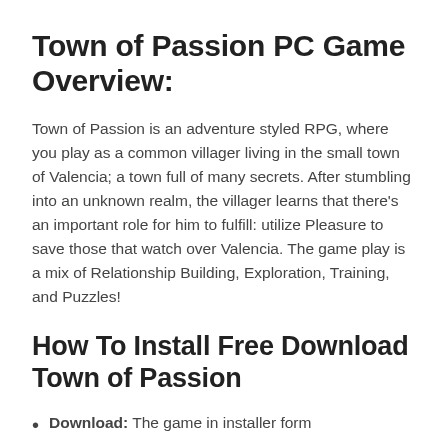Town of Passion PC Game Overview:
Town of Passion is an adventure styled RPG, where you play as a common villager living in the small town of Valencia; a town full of many secrets. After stumbling into an unknown realm, the villager learns that there’s an important role for him to fulfill: utilize Pleasure to save those that watch over Valencia. The game play is a mix of Relationship Building, Exploration, Training, and Puzzles!
How To Install Free Download Town of Passion
Download: The game in installer form